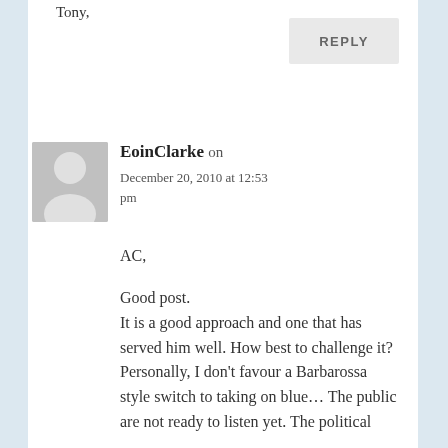Tony,
REPLY
EoinClarke on December 20, 2010 at 12:53 pm
AC,

Good post.
It is a good approach and one that has served him well. How best to challenge it? Personally, I don't favour a Barbarossa style switch to taking on blue… The public are not ready to listen yet. The political